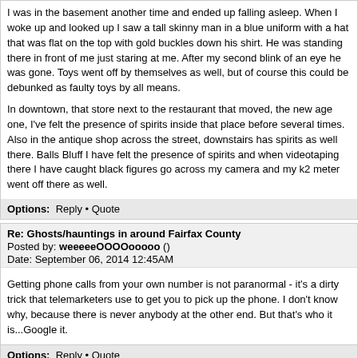I was in the basement another time and ended up falling asleep. When I woke up and looked up I saw a tall skinny man in a blue uniform with a hat that was flat on the top with gold buckles down his shirt. He was standing there in front of me just staring at me. After my second blink of an eye he was gone. Toys went off by themselves as well, but of course this could be debunked as faulty toys by all means.

In downtown, that store next to the restaurant that moved, the new age one, I've felt the presence of spirits inside that place before several times. Also in the antique shop across the street, downstairs has spirits as well there. Balls Bluff I have felt the presence of spirits and when videotaping there I have caught black figures go across my camera and my k2 meter went off there as well.
Options: Reply • Quote
Re: Ghosts/hauntings in around Fairfax County
Posted by: weeeeeOOOOooooo ()
Date: September 06, 2014 12:45AM
Getting phone calls from your own number is not paranormal - it's a dirty trick that telemarketers use to get you to pick up the phone. I don't know why, because there is never anybody at the other end. But that's who it is...Google it.
Options: Reply • Quote
Re: Ghosts/hauntings in around Fairfax County
Posted by: GHOST SIGHTING ON RT 29 TONIGHT! ()
Date: September 07, 2014 07:36AM